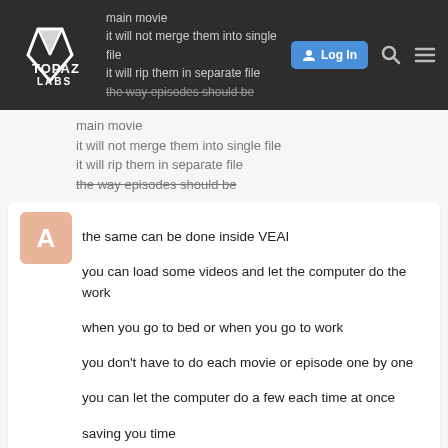Topaz Labs forum navigation bar with logo, Log In button, search and menu icons
main movie
it will not merge them into single file
it will rip them in separate file
the way episodes should be
the same can be done inside VEAI
you can load some videos and let the computer do the work
when you go to bed or when you go to work
you don't have to do each movie or episode one by one
you can let the computer do a few each time at once
saving you time

best of luck
lee.keels Beta Tester Mar '21